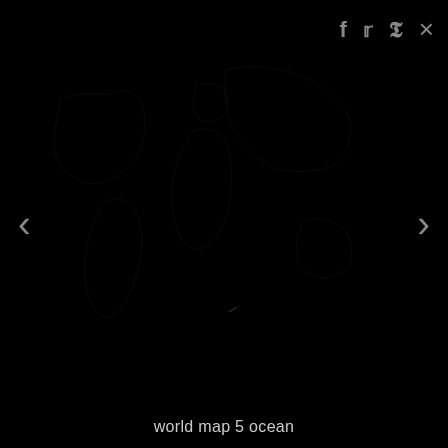[Figure (map): Dark/black image viewer lightbox showing a nearly invisible world map on a black background. Navigation arrows on left and right sides. Social sharing icons (Facebook, Twitter, Pinterest, close X) in top right corner.]
world map 5 ocean